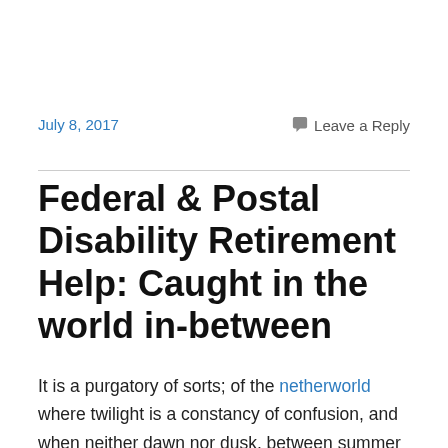July 8, 2017
Leave a Reply
Federal & Postal Disability Retirement Help: Caught in the world in-between
It is a purgatory of sorts; of the netherworld where twilight is a constancy of confusion, and when neither dawn nor dusk, between summer and winter, or of cognitive clarity and conundrums of confusion reach the pinnacle of an infinite maze. Do we prefer clarity to confusion, or the light